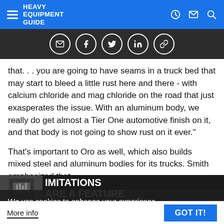HEAVY EQUIPMENT GUIDE
[Figure (screenshot): Social share icons bar: email, facebook, twitter, linkedin, link]
that. . . you are going to have seams in a truck bed that may start to bleed a little rust here and there - with calcium chloride and mag chloride on the road that just exasperates the issue. With an aluminum body, we really do get almost a Tier One automotive finish on it, and that body is not going to show rust on it ever."
That's important to Oro as well, which also builds mixed steel and aluminum bodies for its trucks. Smith emphasized that steel is still important in structural uses, and especially for the undercarriage components, almost every component need to be super strong to support 12,000-pound lifting loads, then we'll try to make it out of aluminum."
We use cookies to enhance your experience. By continuing to visit this site you agree to our use of cookies.
More info
GOT IT!